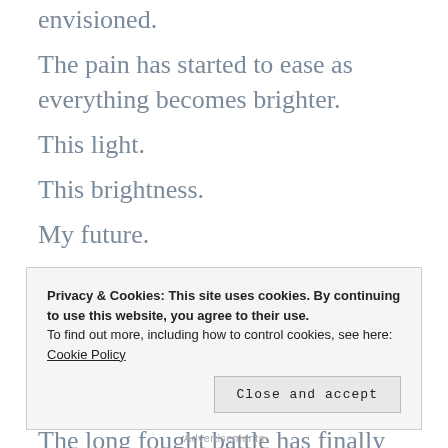envisioned.
The pain has started to ease as everything becomes brighter.
This light.
This brightness.
My future.
That which defines my true purpose.
That which depicts my path towards success.
The long fought battle has finally ceded,
Privacy & Cookies: This site uses cookies. By continuing to use this website, you agree to their use.
To find out more, including how to control cookies, see here: Cookie Policy
Close and accept
Advertisements